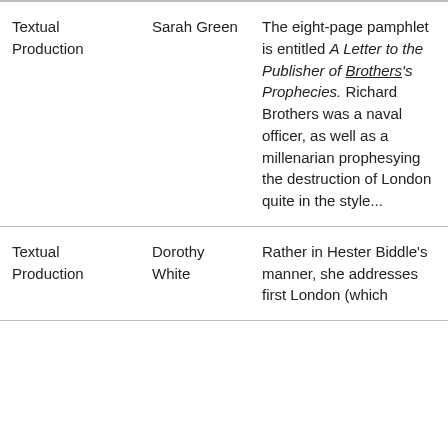|  |  |  |
| --- | --- | --- |
| Textual Production | Sarah Green | The eight-page pamphlet is entitled A Letter to the Publisher of Brothers's Prophecies. Richard Brothers was a naval officer, as well as a millenarian prophesying the destruction of London quite in the style... |
| Textual Production | Dorothy White | Rather in Hester Biddle's manner, she addresses first London (which |